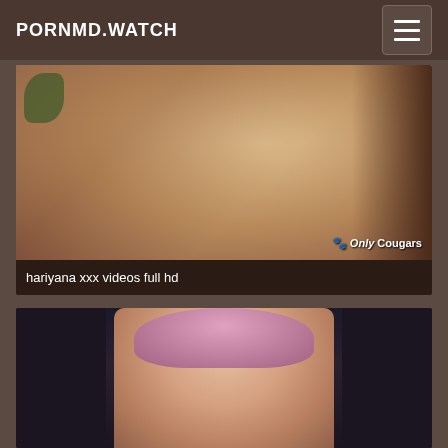PORNMD.WATCH
[Figure (photo): Video thumbnail showing adult content scene with watermark 'Only Cougars']
hariyana xxx videos full hd
[Figure (photo): Video thumbnail showing adult content scene with pink-haired person]